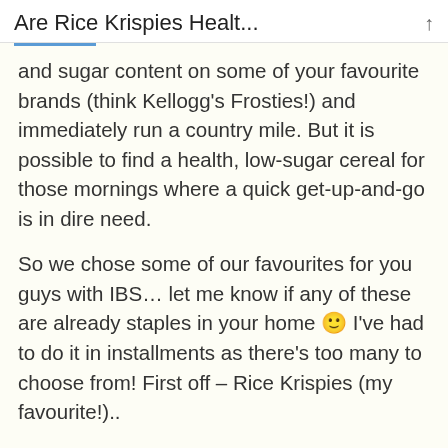Are Rice Krispies Healt...
and sugar content on some of your favourite brands (think Kellogg's Frosties!) and immediately run a country mile. But it is possible to find a health, low-sugar cereal for those mornings where a quick get-up-and-go is in dire need.
So we chose some of our favourites for you guys with IBS… let me know if any of these are already staples in your home 🙂 I've had to do it in installments as there's too many to choose from! First off – Rice Krispies (my favourite!)..